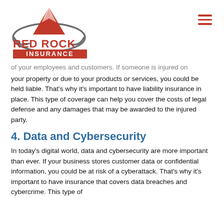[Figure (logo): Red Rock Insurance logo with mountain graphic and company name]
of your employees and customers. If someone is injured on your property or due to your products or services, you could be held liable. That's why it's important to have liability insurance in place. This type of coverage can help you cover the costs of legal defense and any damages that may be awarded to the injured party.
4. Data and Cybersecurity
In today's digital world, data and cybersecurity are more important than ever. If your business stores customer data or confidential information, you could be at risk of a cyberattack. That's why it's important to have insurance that covers data breaches and cybercrime. This type of